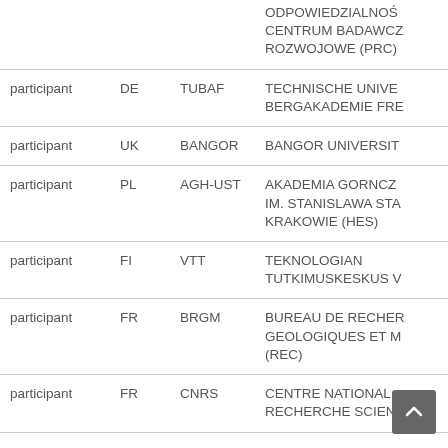| Role | Country | Short name | Organisation name |
| --- | --- | --- | --- |
|  |  |  | ODPOWIEDZIALNOSC CENTRUM BADAWCZO ROZWOJOWE (PRC) |
| participant | DE | TUBAF | TECHNISCHE UNIVERSITAT BERGAKADEMIE FREIBERG |
| participant | UK | BANGOR | BANGOR UNIVERSITY |
| participant | PL | AGH-UST | AKADEMIA GORNICZO IM. STANISLAWA STA KRAKOWIE (HES) |
| participant | FI | VTT | TEKNOLOGIAN TUTKIMUSKESKUS VTT |
| participant | FR | BRGM | BUREAU DE RECHERCHES GEOLOGIQUES ET MINIERES (REC) |
| participant | FR | CNRS | CENTRE NATIONAL DE LA RECHERCHE SCIENTIFIQUE |